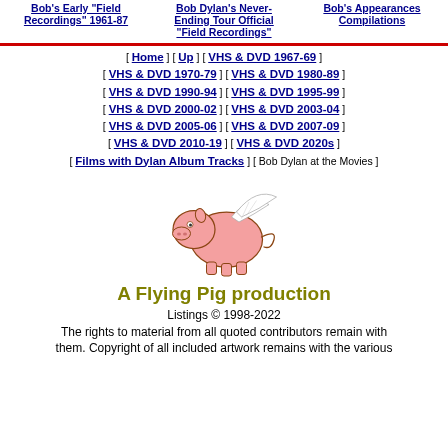Bob's Early "Field Recordings" 1961-87
Bob Dylan's Never-Ending Tour Official "Field Recordings"
Bob's Appearances Compilations
[ Home ] [ Up ] [ VHS & DVD 1967-69 ] [ VHS & DVD 1970-79 ] [ VHS & DVD 1980-89 ] [ VHS & DVD 1990-94 ] [ VHS & DVD 1995-99 ] [ VHS & DVD 2000-02 ] [ VHS & DVD 2003-04 ] [ VHS & DVD 2005-06 ] [ VHS & DVD 2007-09 ] [ VHS & DVD 2010-19 ] [ VHS & DVD 2020s ] [ Films with Dylan Album Tracks ] [ Bob Dylan at the Movies ]
[Figure (illustration): Flying pig cartoon illustration — pink pig with white wings flying]
A Flying Pig production
Listings © 1998-2022 The rights to material from all quoted contributors remain with them. Copyright of all included artwork remains with the various